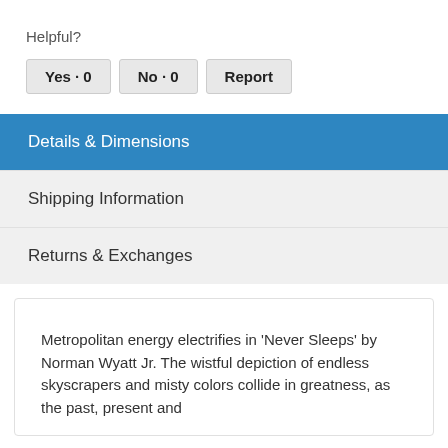Helpful?
Yes · 0
No · 0
Report
Details & Dimensions
Shipping Information
Returns & Exchanges
Metropolitan energy electrifies in 'Never Sleeps' by Norman Wyatt Jr. The wistful depiction of endless skyscrapers and misty colors collide in greatness, as the past, present and